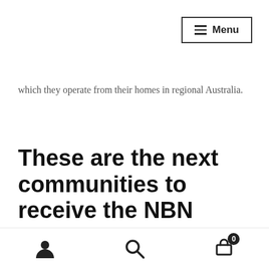≡ Menu
which they operate from their homes in regional Australia.
These are the next communities to receive the NBN
If you live in regional Australia, then you're probably very familiar with the challenges people have accessing broadband internet. In most regional communities,
[user icon] [search icon] [cart icon with badge 0]